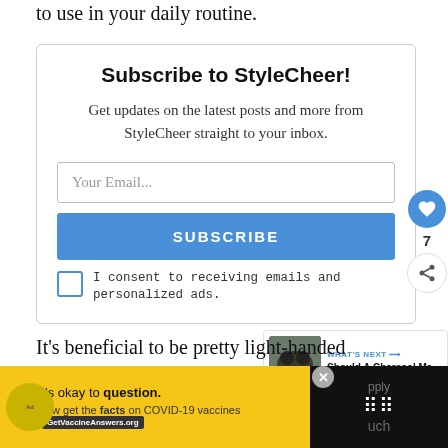to use in your daily routine.
Subscribe to StyleCheer!
Get updates on the latest posts and more from StyleCheer straight to your inbox.
I consent to receiving emails and personalized ads.
It's beneficial to be pretty light-handed
[Figure (screenshot): COVID-19 vaccine advertisement banner with yellow background, It's okay to question. text, and GetVaccineAnswers.org button]